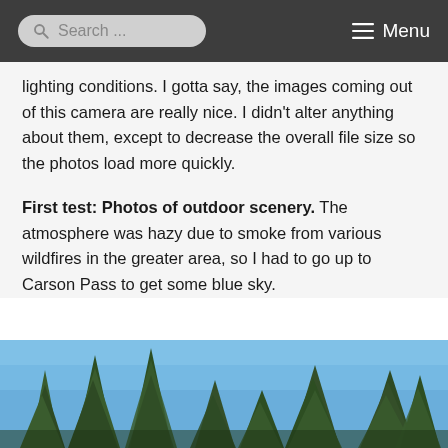Search ... Menu
lighting conditions. I gotta say, the images coming out of this camera are really nice. I didn't alter anything about them, except to decrease the overall file size so the photos load more quickly.
First test: Photos of outdoor scenery. The atmosphere was hazy due to smoke from various wildfires in the greater area, so I had to go up to Carson Pass to get some blue sky.
[Figure (photo): Outdoor scenery photo showing tall evergreen trees (pines/firs) against a blue sky, taken at Carson Pass. Looking upward through a forest of tall conifers with blue sky visible above.]